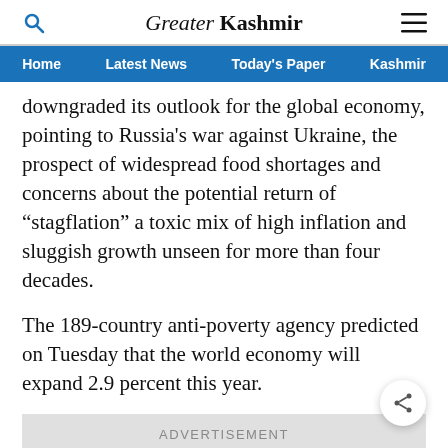Greater Kashmir
Home | Latest News | Today's Paper | Kashmir
downgraded its outlook for the global economy, pointing to Russia’s war against Ukraine, the prospect of widespread food shortages and concerns about the potential return of “stagflation” a toxic mix of high inflation and sluggish growth unseen for more than four decades.
The 189-country anti-poverty agency predicted on Tuesday that the world economy will expand 2.9 percent this year.
ADVERTISEMENT